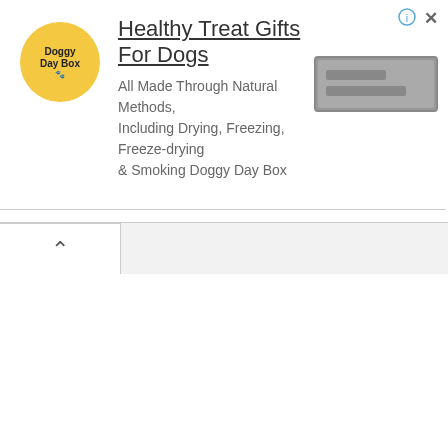[Figure (screenshot): Web advertisement banner for Doggy Day Box. Contains a circular yellow logo with 'Doggy Day Box' text, headline 'Healthy Treat Gifts For Dogs', description text about natural methods, and a blurred call-to-action button. Info and close icons in top-right corner.]